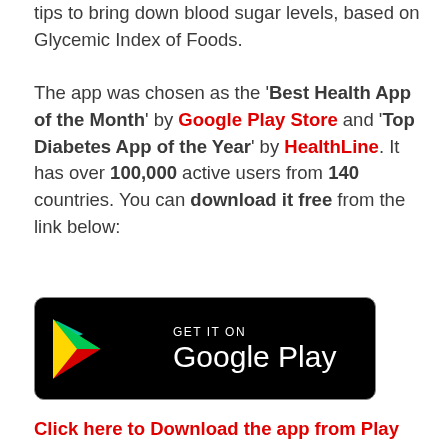tips to bring down blood sugar levels, based on Glycemic Index of Foods.
The app was chosen as the 'Best Health App of the Month' by Google Play Store and 'Top Diabetes App of the Year' by HealthLine. It has over 100,000 active users from 140 countries. You can download it free from the link below:
[Figure (logo): Google Play Store badge — black rounded rectangle with Google Play triangle logo and text 'GET IT ON Google Play' in white]
Click here to Download the app from Play